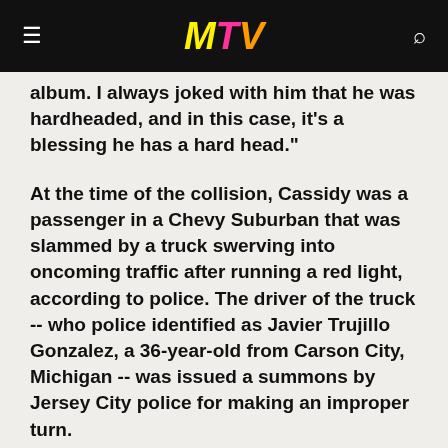MTV
album. I always joked with him that he was hardheaded, and in this case, it's a blessing he has a hard head."
At the time of the collision, Cassidy was a passenger in a Chevy Suburban that was slammed by a truck swerving into oncoming traffic after running a red light, according to police. The driver of the truck -- who police identified as Javier Trujillo Gonzalez, a 36-year-old from Carson City, Michigan -- was issued a summons by Jersey City police for making an improper turn.
All five people involved in the crash were taken to local hospitals, but only Cassidy sustained serious injuries (see [article id="1542598"]"Rapper Cassidy's Fellow Passenger Relays Horror Of Car Accident"[/article]).